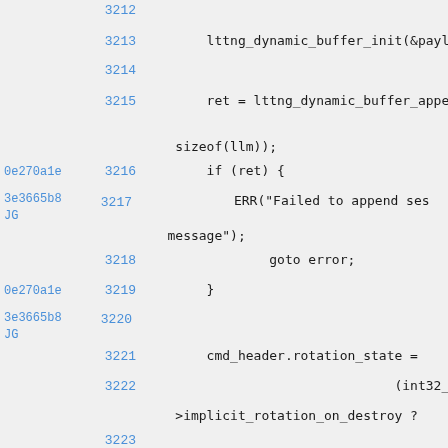Code listing lines 3212-3225 from a C source file with git blame annotations showing commit hashes and line numbers
3212 (blank)
3213     lttng_dynamic_buffer_init(&payload
3214 (blank)
3215     ret = lttng_dynamic_buffer_append... sizeof(llm));
0e270a1e 3216     if (ret) {
3e3665b8 JG 3217         ERR("Failed to append ses... message");
3218             goto error;
0e270a1e 3219     }
3e3665b8 JG 3220 (blank)
3221     cmd_header.rotation_state =
3222                 (int32_t) (reply_->implicit_rotation_on_destroy ?
3223                                 session->
3224                                 LTTNG_ROT
3225     ret = lttng_dynamic_buffer_append